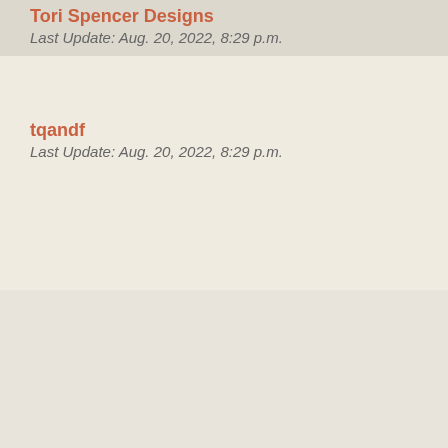Tori Spencer Designs
Last Update: Aug. 20, 2022, 8:29 p.m.
tqandf
Last Update: Aug. 20, 2022, 8:29 p.m.